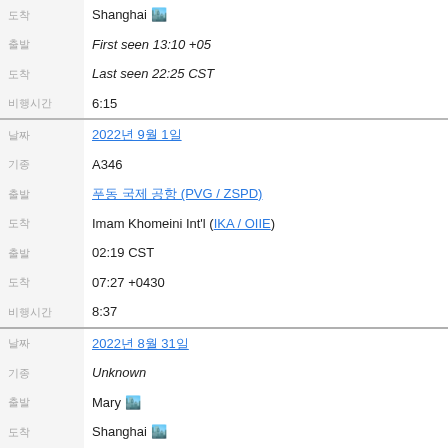| 도착 | Shanghai 🏙️ | First seen 13:10 +05 | Last seen 22:25 CST | 6:15 |
| 날짜 | 2022년 9월 1일 | 기종 | A346 | 출발 | 푸동 국제공항 (PVG / ZSPD) | 도착 | Imam Khomeini Int'l (IKA / OIIE) | 출발 | 02:19 CST | 도착 | 07:27 +0430 | 비행시간 | 8:37 |
| 날짜 | 2022년 8월 31일 | 기종 | Unknown | 출발 | Mary 🏙️ | 도착 | Shanghai 🏙️ | 출발 | First seen 14:30 +05 | 도착 | Last seen 23:46 CST | 비행시간 | 6:16 |
| 날짜 | 2022년 8월 31일 | 기종 | Unknown |